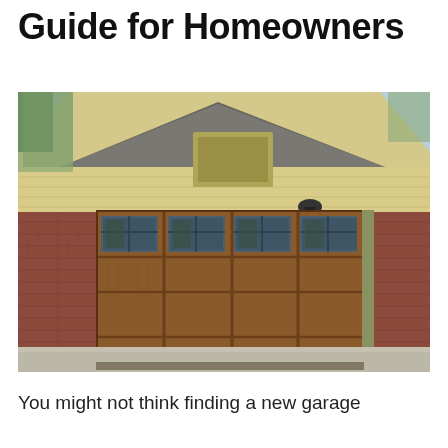Guide for Homeowners
[Figure (photo): Exterior photo of a residential garage with a large brown wood-panel style double garage door with four rectangular windows across the top, set into a brick facade home with a gabled roof and wall-mounted lantern light above the door.]
You might not think finding a new garage